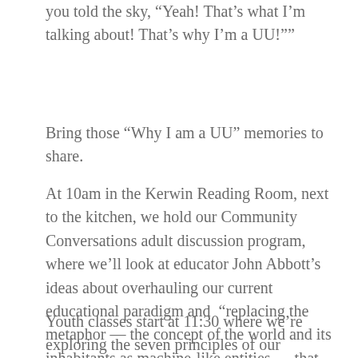you told the sky, “Yeah! That’s what I’m talking about! That’s why I’m a UU!””
Bring those “Why I am a UU” memories to share.
At 10am in the Kerwin Reading Room, next to the kitchen, we hold our Community Conversations adult discussion program, where we’ll look at educator John Abbott’s ideas about overhauling our current educational paradigm and “replacing the metaphor — the concept of the world and its inhabitants as machine-like entities — that has shaped the education system, as well as many other aspects of our culture.”
Youth classes start at 11:30 where we’re exploring the seven principles of our Unitarian Universalist